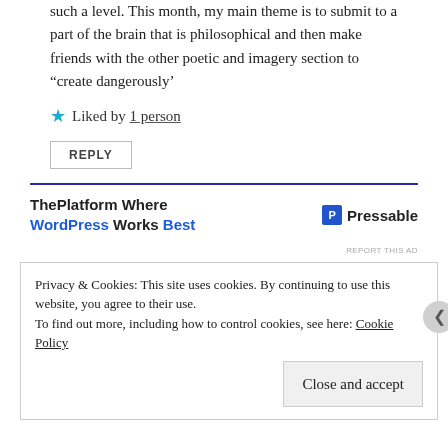such a level. This month, my main theme is to submit to a part of the brain that is philosophical and then make friends with the other poetic and imagery section to “create dangerously’
★ Liked by 1 person
REPLY
[Figure (infographic): Advertisement banner: ThePlatform Where WordPress Works Best | Pressable logo]
REPORT THIS AD
Privacy & Cookies: This site uses cookies. By continuing to use this website, you agree to their use. To find out more, including how to control cookies, see here: Cookie Policy
Close and accept